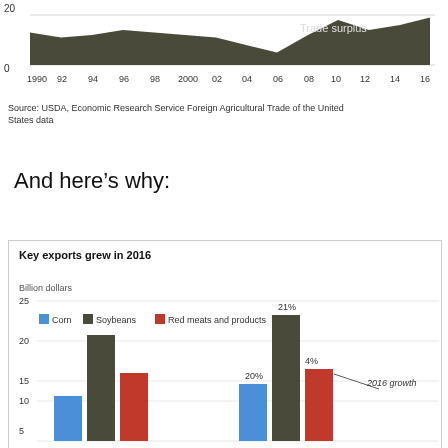[Figure (area-chart): Trade surplus]
Source: USDA, Economic Research Service Foreign Agricultural Trade of the United States data
And here’s why:
[Figure (grouped-bar-chart): Key exports grew in 2016]